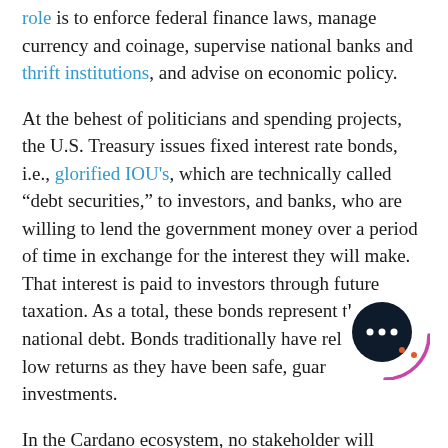role is to enforce federal finance laws, manage currency and coinage, supervise national banks and thrift institutions, and advise on economic policy.
At the behest of politicians and spending projects, the U.S. Treasury issues fixed interest rate bonds, i.e., glorified IOU's, which are technically called “debt securities,” to investors, and banks, who are willing to lend the government money over a period of time in exchange for the interest they will make. That interest is paid to investors through future taxation. As a total, these bonds represent the national debt. Bonds traditionally have relatively low returns as they have been safe, guaranteed investments.
In the Cardano ecosystem, no stakeholder will be able to issue new Cardano ADA digital
[Figure (other): Chat bubble icon with three dots, dark navy circle with a pink/magenta arc decorating the bottom-right]